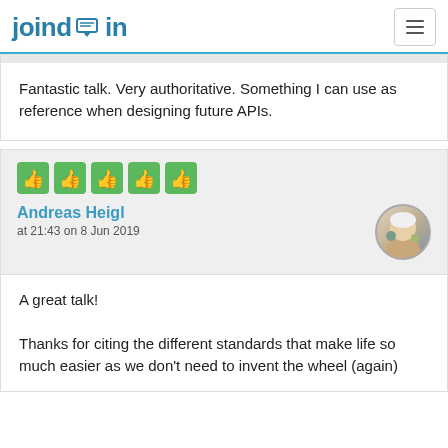joind.in
Fantastic talk. Very authoritative. Something I can use as reference when designing future APIs.
[Figure (infographic): Five green thumbs-up icons in a row indicating a 5-star rating]
Andreas Heigl
at 21:43 on 8 Jun 2019
A great talk!

Thanks for citing the different standards that make life so much easier as we don't need to invent the wheel (again)